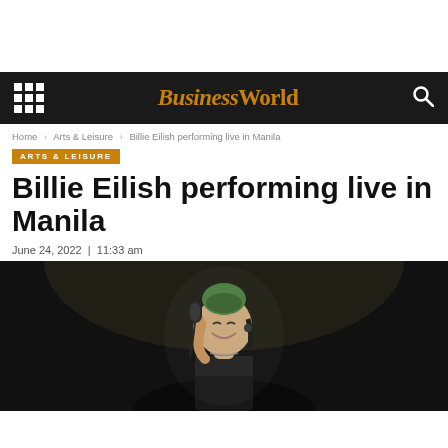BusinessWorld
Home > Arts & Leisure > Billie Eilish performing live in Manila
ARTS & LEISURE
Billie Eilish performing live in Manila
June 24, 2022  |  11:33 am
[Figure (photo): Billie Eilish performing live on stage, holding a microphone, with green-black hair, smiling, dark background]